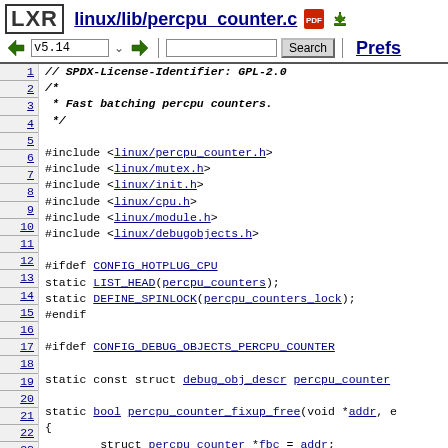LXR linux/lib/percpu_counter.c
[Figure (screenshot): Navigation bar with version selector v5.14, search box, Search button, and Prefs link]
1  // SPDX-License-Identifier: GPL-2.0
2  /*
3   * Fast batching percpu counters.
4   */
5
6  #include <linux/percpu_counter.h>
7  #include <linux/mutex.h>
8  #include <linux/init.h>
9  #include <linux/cpu.h>
10 #include <linux/module.h>
11 #include <linux/debugobjects.h>
12
13 #ifdef CONFIG_HOTPLUG_CPU
14 static LIST_HEAD(percpu_counters);
15 static DEFINE_SPINLOCK(percpu_counters_lock);
16 #endif
17
18 #ifdef CONFIG_DEBUG_OBJECTS_PERCPU_COUNTER
19
20 static const struct debug_obj_descr percpu_counter
21
22 static bool percpu_counter_fixup_free(void *addr, e
23 {
24         struct percpu_counter *fbc = addr;
25
26         switch (state) {